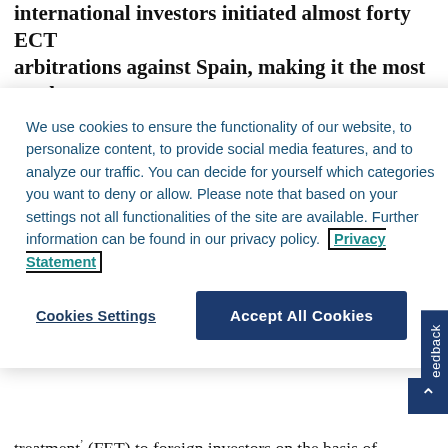international investors initiated almost forty ECT arbitrations against Spain, making it the most sued
We use cookies to ensure the functionality of our website, to personalize content, to provide social media features, and to analyze our traffic. You can decide for yourself which categories you want to deny or allow. Please note that based on your settings not all functionalities of the site are available. Further information can be found in our privacy policy. Privacy Statement
Cookies Settings
Accept All Cookies
treatment (FET) to foreign investors on the basis of Article 10(1) ECT.56
In the currently developing ECT jurisprudence concerning RES disputes, it seems that two distinct legitimate expectations are put forward by investors, although they have been formulated and analysed differently in the various cases. Firstly, that the investor had the legitimate expectation that the